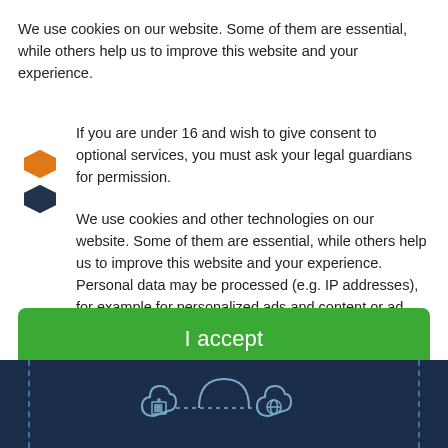We use cookies on our website. Some of them are essential, while others help us to improve this website and your experience.
If you are under 16 and wish to give consent to optional services, you must ask your legal guardians for permission.
[Figure (logo): Two hexagon/shield shaped logo icons stacked vertically — top one orange, bottom one dark navy]
We use cookies and other technologies on our website. Some of them are essential, while others help us to improve this website and your experience. Personal data may be processed (e.g. IP addresses), for example for personalized ads and content or ad and content measurement. You can find more information about the use of your data in our
I accept
Accept only essential cookies
[Figure (illustration): Dark navy banner with dashed vertical border lines on left and right sides, and a cloud/network icon illustration in the center showing a building connected to a globe via cloud]